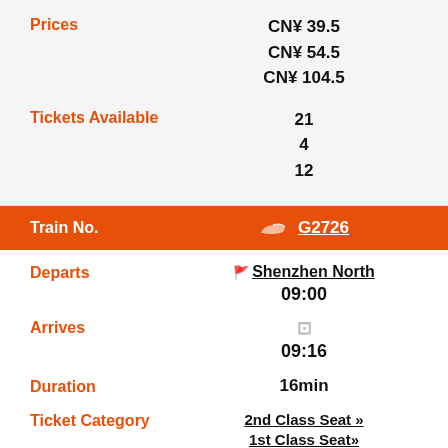Prices
CN¥ 39.5
CN¥ 54.5
CN¥ 104.5
Tickets Available
21
4
12
Train No.
G2726
Departs
Shenzhen North
09:00
Arrives
09:16
Duration
16min
Ticket Category
2nd Class Seat »
1st Class Seat»